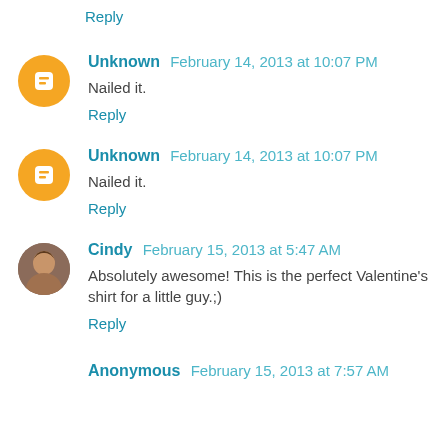Reply
Unknown  February 14, 2013 at 10:07 PM
Nailed it.
Reply
Unknown  February 14, 2013 at 10:07 PM
Nailed it.
Reply
Cindy  February 15, 2013 at 5:47 AM
Absolutely awesome! This is the perfect Valentine's shirt for a little guy.;)
Reply
Anonymous  February 15, 2013 at 7:57 AM